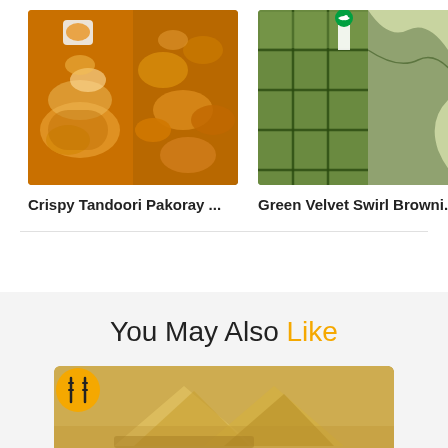[Figure (photo): Two food photos side by side: left shows a piece of tandoori pakoray being dipped in orange sauce, right shows a pile of crispy tandoori pakoray on a plate]
Crispy Tandoori Pakoray ...
[Figure (photo): Green velvet swirl brownie squares with a Pakistan flag, shown from above on a cooling rack, with a marbled green and white brownie on the right]
Green Velvet Swirl Browni...
You May Also Like
[Figure (photo): A food photo showing golden crispy samosas on a wooden surface, with a yellow fork-knife badge logo overlay in the top left]